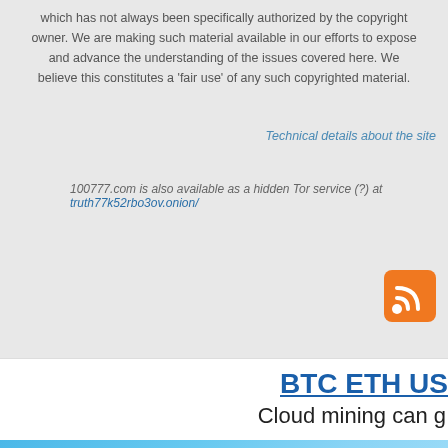which has not always been specifically authorized by the copyright owner. We are making such material available in our efforts to expose and advance the understanding of the issues covered here. We believe this constitutes a 'fair use' of any such copyrighted material.
Technical details about the site
100777.com is also available as a hidden Tor service (?) at truth77k52rbo3ov.onion/
[Figure (logo): RSS feed orange icon]
[Figure (infographic): BTC ETH US advertisement banner with text 'BTC ETH US' and 'Cloud mining can g']
[Figure (logo): A-ADS advertising network banner with logo and 'Network' text on blue gradient background]